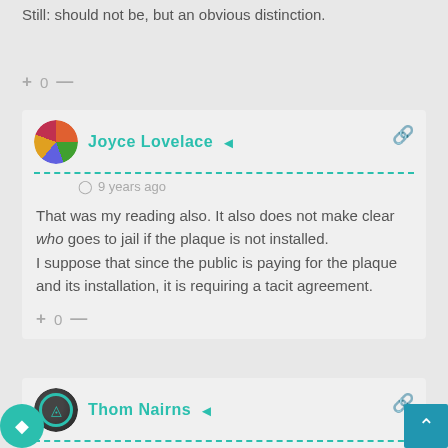Still: should not be, but an obvious distinction.
+ 0 —
Joyce Lovelace
9 years ago
That was my reading also. It also does not make clear who goes to jail if the plaque is not installed.
I suppose that since the public is paying for the plaque and its installation, it is requiring a tacit agreement.
+ 0 —
Thom Nairns
9 years ago